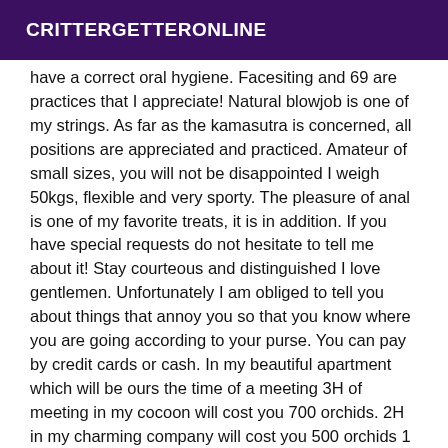CRITTERGETTERONLINE
have a correct oral hygiene. Facesiting and 69 are practices that I appreciate! Natural blowjob is one of my strings. As far as the kamasutra is concerned, all positions are appreciated and practiced. Amateur of small sizes, you will not be disappointed I weigh 50kgs, flexible and very sporty. The pleasure of anal is one of my favorite treats, it is in addition. If you have special requests do not hesitate to tell me about it! Stay courteous and distinguished I love gentlemen. Unfortunately I am obliged to tell you about things that annoy you so that you know where you are going according to your purse. You can pay by credit cards or cash. In my beautiful apartment which will be ours the time of a meeting 3H of meeting in my cocoon will cost you 700 orchids. 2H in my charming company will cost you 500 orchids 1 hour of shared pleasure will cost you 250 orchids. 30min in my living space will cost you 150 orchids On a trip to your hotel or apartment under prior